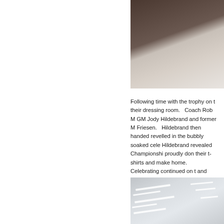[Figure (photo): Photo of hockey players on ice, viewed from above, showing dark jerseys and ice surface]
Following time with the trophy on their dressing room. Coach Rob M, GM Jody Hildebrand and former M Friesen. Hildebrand then handed revelled in the bubbly soaked cele Hildebrand revealed Championship proudly don their t-shirts and make home. Celebrating continued on t and eventually all players made th delivered safely home by Bus drive
[Figure (photo): Photo of a room interior with fluorescent lighting strips on ceiling]